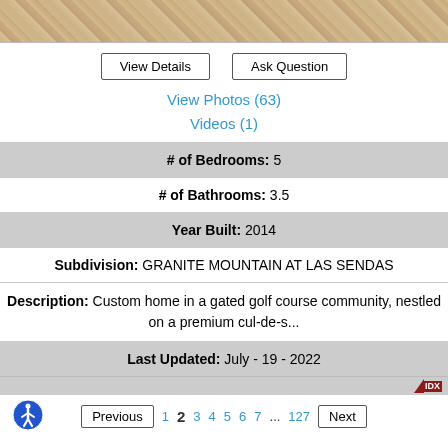[Figure (photo): Top portion of a brick/paver surface photo, cropped]
View Details | Ask Question
View Photos (63)
Videos (1)
# of Bedrooms: 5
# of Bathrooms: 3.5
Year Built: 2014
Subdivision: GRANITE MOUNTAIN AT LAS SENDAS
Description: Custom home in a gated golf course community, nestled on a premium cul-de-s...
Last Updated: July - 19 - 2022
Previous 1 2 3 4 5 6 7 ... 127 Next